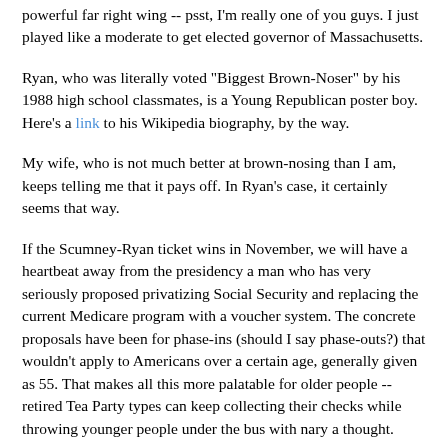powerful far right wing -- psst, I'm really one of you guys. I just played like a moderate to get elected governor of Massachusetts.
Ryan, who was literally voted "Biggest Brown-Noser" by his 1988 high school classmates, is a Young Republican poster boy. Here's a link to his Wikipedia biography, by the way.
My wife, who is not much better at brown-nosing than I am, keeps telling me that it pays off. In Ryan's case, it certainly seems that way.
If the Scumney-Ryan ticket wins in November, we will have a heartbeat away from the presidency a man who has very seriously proposed privatizing Social Security and replacing the current Medicare program with a voucher system. The concrete proposals have been for phase-ins (should I say phase-outs?) that wouldn't apply to Americans over a certain age, generally given as 55. That makes all this more palatable for older people -- retired Tea Party types can keep collecting their checks while throwing younger people under the bus with nary a thought.